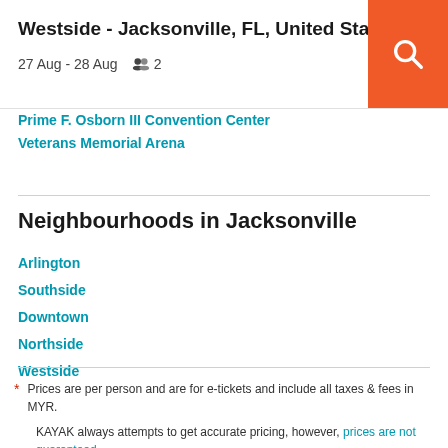Westside - Jacksonville, FL, United States
27 Aug - 28 Aug  2
Prime F. Osborn III Convention Center
Veterans Memorial Arena
Neighbourhoods in Jacksonville
Arlington
Southside
Downtown
Northside
Westside
* Prices are per person and are for e-tickets and include all taxes & fees in MYR.

KAYAK always attempts to get accurate pricing, however, prices are not guaranteed.